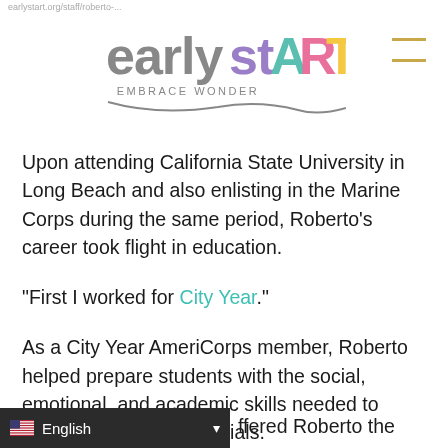[Figure (logo): earlyStART logo with 'EMBRACE WONDER' tagline in colorful lettering]
Upon attending California State University in Long Beach and also enlisting in the Marine Corps during the same period, Roberto's career took flight in education.
“First I worked for City Year.”
As a City Year AmeriCorps member, Roberto helped prepare students with the social, emotional, and academic skills needed to reach their fullest potentials.
“After City Year, Teach For America took me to Chicago, where I taught pre-K.”
ffered Roberto the